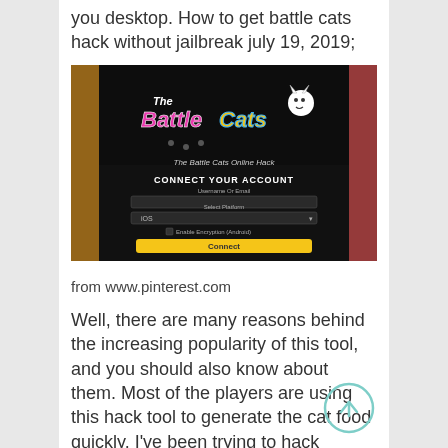you desktop. How to get battle cats hack without jailbreak july 19, 2019;
[Figure (screenshot): Screenshot of The Battle Cats Online Hack page showing 'CONNECT YOUR ACCOUNT' interface with username/email input, platform selector, encryption checkbox, and Connect button.]
from www.pinterest.com
Well, there are many reasons behind the increasing popularity of this tool, and you should also know about them. Most of the players are using this hack tool to generate the cat food quickly. I've been trying to hack battlecats on my iphone all day, with very little luck.